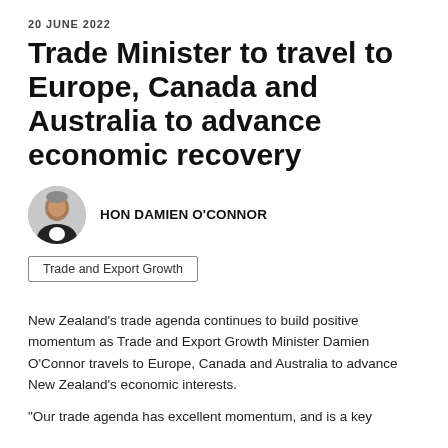20 JUNE 2022
Trade Minister to travel to Europe, Canada and Australia to advance economic recovery
[Figure (photo): Circular portrait photo of Hon Damien O'Connor]
HON DAMIEN O'CONNOR
Trade and Export Growth
New Zealand's trade agenda continues to build positive momentum as Trade and Export Growth Minister Damien O'Connor travels to Europe, Canada and Australia to advance New Zealand's economic interests.
“Our trade agenda has excellent momentum, and is a key